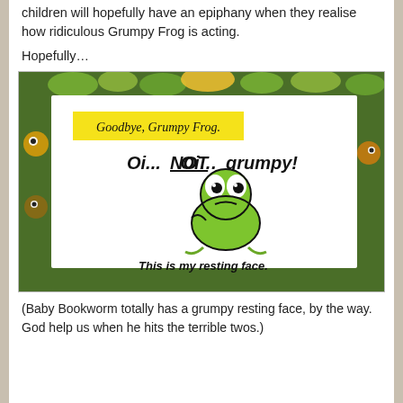children will hopefully have an epiphany when they realise how ridiculous Grumpy Frog is acting.
Hopefully…
[Figure (photo): Photo of an open children's book page showing a cartoon grumpy frog illustration. The book page has a yellow label reading 'Goodbye, Grumpy Frog.' and handwritten-style text reading 'Oi... NOT grumpy!' above the frog illustration, and 'This is my resting face.' below it. The book is set against a jungle-themed patterned background.]
(Baby Bookworm totally has a grumpy resting face, by the way. God help us when he hits the terrible twos.)